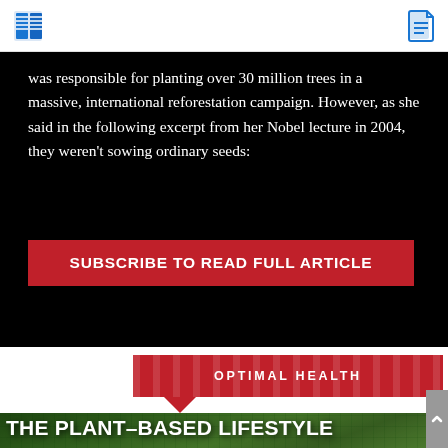was responsible for planting over 30 million trees in a massive, international reforestation campaign. However, as she said in the following excerpt from her Nobel lecture in 2004, they weren't sowing ordinary seeds:
SUBSCRIBE TO READ FULL ARTICLE
OPTIMAL HEALTH
[Figure (photo): A woman and child outdoors in a green nature setting, with the title 'THE PLANT-BASED LIFESTYLE' overlaid in bold white uppercase text]
THE PLANT-BASED LIFESTYLE